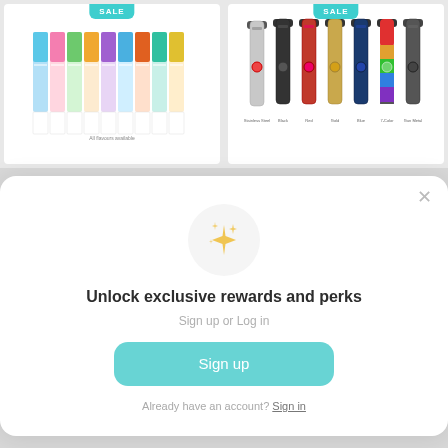[Figure (photo): Left product card showing colorful vape pen boxes/packages arranged in a row, with a SALE badge at the top]
[Figure (photo): Right product card showing six vape pen devices in different colors (Stainless Steel, Black, Red, Gold, Blue, 7-Color, Gun Metal) with a SALE badge at the top]
[Figure (screenshot): Modal popup with sparkle icon saying 'Unlock exclusive rewards and perks', with Sign up or Log in subtitle, a teal Sign up button, and an 'Already have an account? Sign in' link. An X close button is in the top right corner.]
Unlock exclusive rewards and perks
Sign up or Log in
Sign up
Already have an account? Sign in